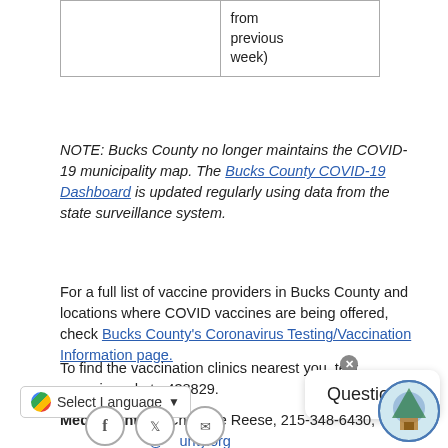|  | from
previous
week) |
NOTE: Bucks County no longer maintains the COVID-19 municipality map. The Bucks County COVID-19 Dashboard is updated regularly using data from the state surveillance system.
For a full list of vaccine providers in Bucks County and locations where COVID vaccines are being offered, check Bucks County's Coronavirus Testing/Vaccination Information page.
To find the vaccination clinics nearest you, text your zip code to 438829.
Media Contact: Charlotte Reese, 215-348-6430, [county email].org